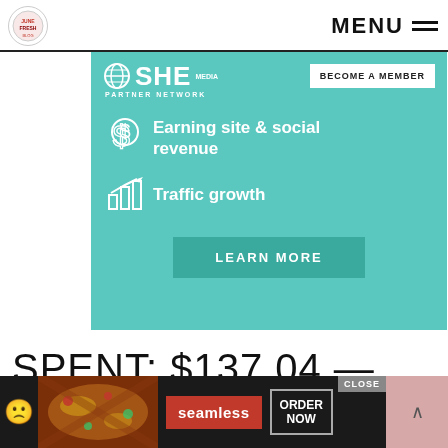MENU
[Figure (advertisement): SHE Media Partner Network advertisement banner with teal background. Shows globe logo, 'BECOME A MEMBER' button, features: 'Earning site & social revenue' with dollar sign icon, 'Traffic growth' with bar chart icon, and 'LEARN MORE' button.]
SPENT: $137.04 — IMPULSE PURCHASE
[Figure (advertisement): Seamless food delivery bottom bar ad with pizza image, Seamless logo in red, and ORDER NOW button. Has CLOSE button and scroll-up arrow.]